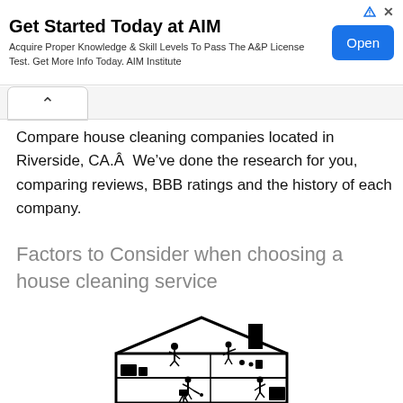[Figure (other): Advertisement banner for AIM Institute. Title: 'Get Started Today at AIM'. Subtitle: 'Acquire Proper Knowledge & Skill Levels To Pass The A&P License Test. Get More Info Today. AIM Institute'. Blue 'Open' button on the right. Ad icon and close X in top-right corner.]
Compare house cleaning companies located in Riverside, CA.Â  We’ve done the research for you, comparing reviews, BBB ratings and the history of each company.
Factors to Consider when choosing a house cleaning service
[Figure (illustration): Black and white silhouette illustration of a cross-section of a house showing people cleaning on multiple floors. Characters are depicted performing various cleaning tasks on three levels of the house interior.]